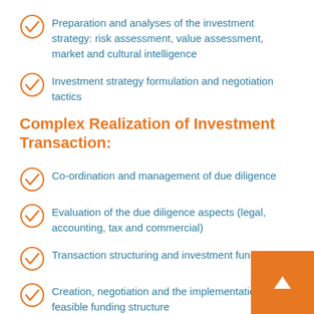Preparation and analyses of the investment strategy: risk assessment, value assessment, market and cultural intelligence
Investment strategy formulation and negotiation tactics
Complex Realization of Investment Transaction:
Co-ordination and management of due diligence
Evaluation of the due diligence aspects (legal, accounting, tax and commercial)
Transaction structuring and investment fund-raising
Creation, negotiation and the implementation of a feasible funding structure
Negotiation of the key contractual conditions, selling